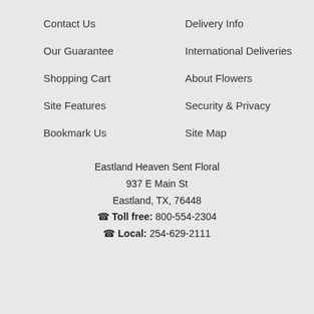Contact Us
Delivery Info
Our Guarantee
International Deliveries
Shopping Cart
About Flowers
Site Features
Security & Privacy
Bookmark Us
Site Map
Eastland Heaven Sent Floral
937 E Main St
Eastland, TX, 76448
☎ Toll free: 800-554-2304
☎ Local: 254-629-2111